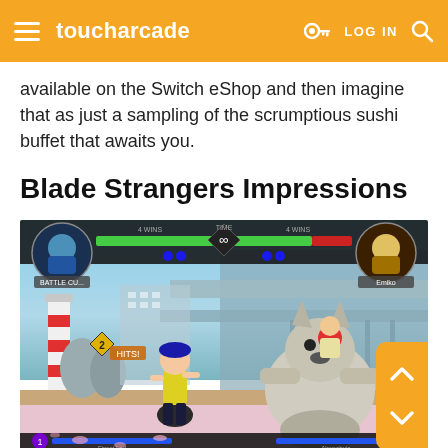toucharcade | LOG IN
available on the Switch eShop and then imagine that as just a sampling of the scrumptious sushi buffet that awaits you.
Blade Strangers Impressions
[Figure (screenshot): Blade Strangers gameplay screenshot showing two anime-style characters fighting on a side-scrolling stage with HUD elements including health bars, a timer showing infinity symbol, and character portraits.]